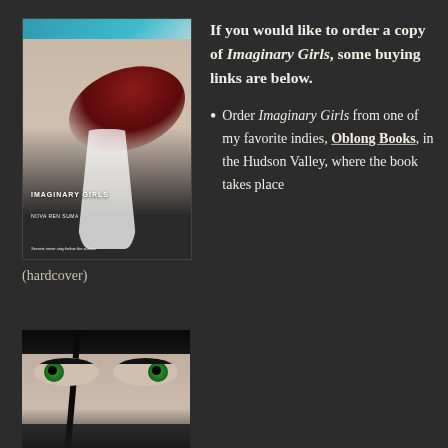[Figure (photo): Book cover of 'Imaginary Girls' by Nova Ren Suma, showing a girl in a white dress underwater with flowing red hair against a blue-teal background]
(hardcover)
[Figure (photo): Close-up photo of a girl's face with striking green eyes, dark hair, pale skin, partially obscured by shadow]
If you would like to order a copy of Imaginary Girls, some buying links are below.
Order Imaginary Girls from one of my favorite indies, Oblong Books, in the Hudson Valley, where the book takes place